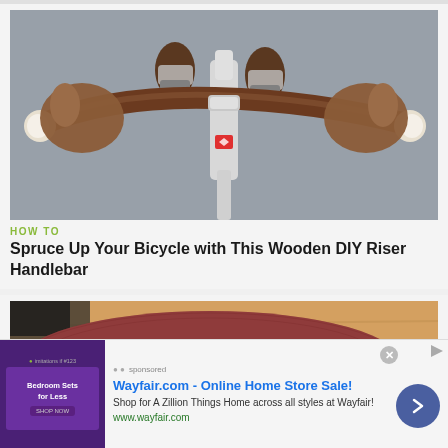[Figure (photo): First-person view of person riding a bicycle, hands gripping wooden handlebar with white end caps, silver stem visible, asphalt road below, another person's feet visible in background]
HOW TO
Spruce Up Your Bicycle with This Wooden DIY Riser Handlebar
[Figure (photo): Close-up of a round reddish-brown textured surface (possibly a stool or table top) on a wooden surface]
[Figure (screenshot): Advertisement for Wayfair.com - Online Home Store Sale! Shop for A Zillion Things Home across all styles at Wayfair! www.wayfair.com. Features a purple thumbnail image of bedroom furniture and a circular arrow button.]